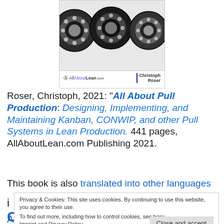[Figure (photo): Book cover thumbnail showing three ball bearings and logos for AllAboutLean.com and author Christoph Roser]
Roser, Christoph, 2021: “All About Pull Production: Designing, Implementing, and Maintaining Kanban, CONWIP, and other Pull Systems in Lean Production. 441 pages, AllAboutLean.com Publishing 2021.
This book is also translated into other languages
Privacy & Cookies: This site uses cookies. By continuing to use this website, you agree to their use.
To find out more, including how to control cookies, see here:
Imprint and Privacy Policy
All Posts and Pages